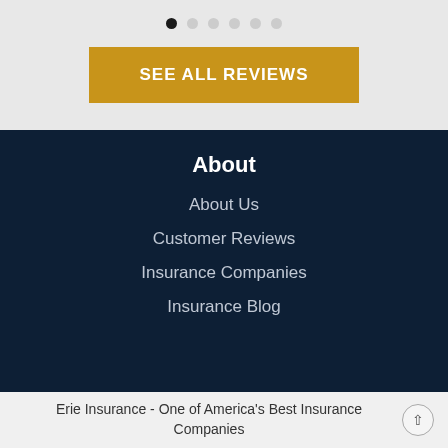[Figure (other): Carousel navigation dots, first dot active (dark), remaining five dots light gray]
SEE ALL REVIEWS
About
About Us
Customer Reviews
Insurance Companies
Insurance Blog
Erie Insurance - One of America's Best Insurance Companies